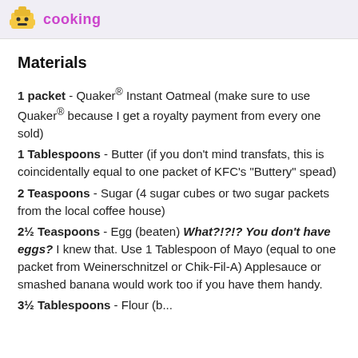cooking
Materials
1 packet - Quaker® Instant Oatmeal (make sure to use Quaker® because I get a royalty payment from every one sold)
1 Tablespoons - Butter (if you don't mind transfats, this is coincidentally equal to one packet of KFC's "Buttery" spead)
2 Teaspoons - Sugar (4 sugar cubes or two sugar packets from the local coffee house)
2½ Teaspoons - Egg (beaten) What?!?!? You don't have eggs? I knew that. Use 1 Tablespoon of Mayo (equal to one packet from Weinerschnitzel or Chik-Fil-A) Applesauce or smashed banana would work too if you have them handy.